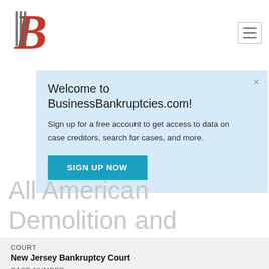BusinessBankruptcies.com logo and navigation
Welcome to BusinessBankruptcies.com! Sign up for a free account to get access to data on case creditors, search for cases, and more. SIGN UP NOW
All American Demolition and Dismantling, LLC
COURT
New Jersey Bankruptcy Court
CASE NUMBER
2:2020bk46559